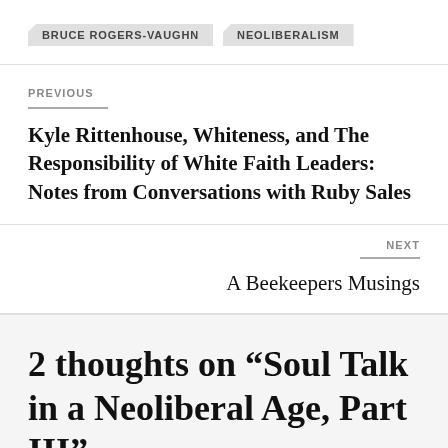BRUCE ROGERS-VAUGHN
NEOLIBERALISM
PREVIOUS
Kyle Rittenhouse, Whiteness, and The Responsibility of White Faith Leaders: Notes from Conversations with Ruby Sales
NEXT
A Beekeepers Musings
2 thoughts on “Soul Talk in a Neoliberal Age, Part III”